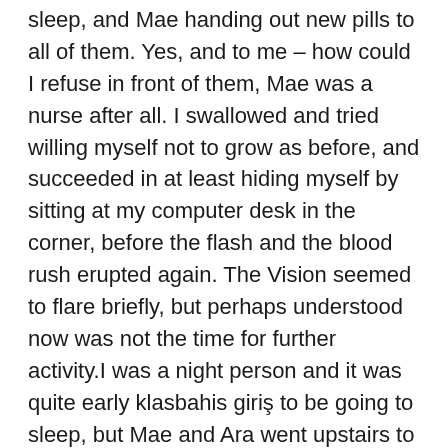sleep, and Mae handing out new pills to all of them. Yes, and to me – how could I refuse in front of them, Mae was a nurse after all. I swallowed and tried willing myself not to grow as before, and succeeded in at least hiding myself by sitting at my computer desk in the corner, before the flash and the blood rush erupted again. The Vision seemed to flare briefly, but perhaps understood now was not the time for further activity.I was a night person and it was quite early klasbahis giriş to be going to sleep, but Mae and Ara went upstairs to their room, and my wife was tired after her day out, and the girls were a little jet-lagged after a lack of sleep on the flight overnight.They each showered and changed into short, nylon see-though nighties, sexy as young slinking kittens, almost twins, and came to give me a peck on each cheek good night – a normal event in my former homeland, between c***dren and good friends of their parents. In Asia this